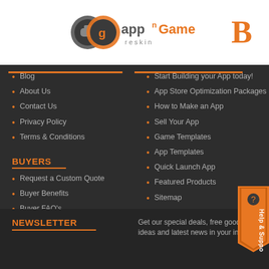[Figure (logo): AppNGame Reskin logo with circular icons and stylized text, plus large orange 'B' letter on right]
Blog
About Us
Contact Us
Privacy Policy
Terms & Conditions
BUYERS
Request a Custom Quote
Buyer Benefits
Buyer FAQ's
Start Building your App today!
App Store Optimization Packages
How to Make an App
Sell Your App
Game Templates
App Templates
Quick Launch App
Featured Products
Sitemap
NEWSLETTER
Get our special deals, free goodies, ideas and latest news in your inbox.